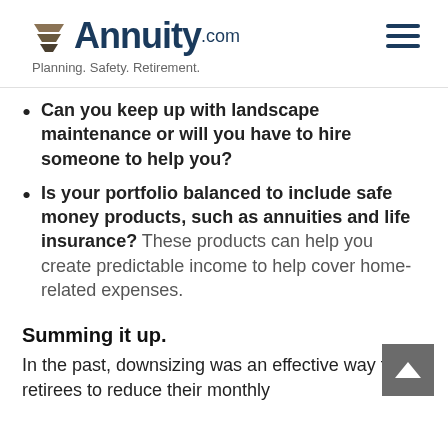Annuity.com — Planning. Safety. Retirement.
Can you keep up with landscape maintenance or will you have to hire someone to help you?
Is your portfolio balanced to include safe money products, such as annuities and life insurance? These products can help you create predictable income to help cover home-related expenses.
Summing it up.
In the past, downsizing was an effective way for retirees to reduce their monthly expenditures significantly while retaining...